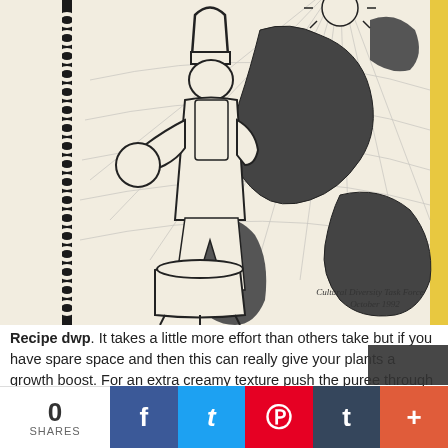[Figure (photo): Photo of a cookbook cover showing a spiral-bound book with an illustration of a chef figure in white outline holding a pot, set against a world map background in black and white. Text reads 'Cultural Diversity Task Force October 1992' in the bottom right of the illustration.]
Recipe dwp. It takes a little more effort than others take but if you have spare space and then this can really give your plants a growth boost. For an extra creamy texture push the puree through a sieve with the back of a ladle. Rachel Hozey Pensacola Florida.
0 SHARES | Facebook | Twitter | Pinterest | Tumblr | +